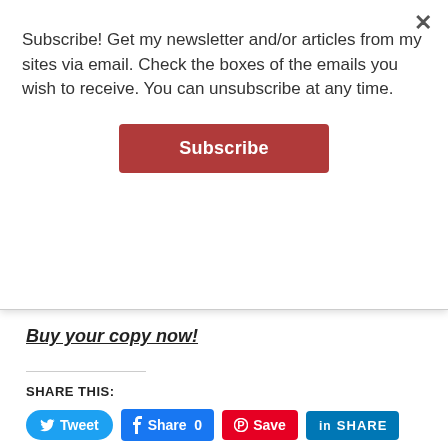Subscribe! Get my newsletter and/or articles from my sites via email. Check the boxes of the emails you wish to receive. You can unsubscribe at any time.
Subscribe
Buy your copy now!
SHARE THIS:
[Figure (screenshot): Social share buttons: Tweet, Share 0 (Facebook), Save (Pinterest), SHARE (LinkedIn), Pocket (45), Post (Tumblr), More]
RELATED
10 Tourist Mistakes when Visiting Italy: Tipping, Tickets, and More
[Figure (photo): Photo of Italian buildings along a canal in Venice]